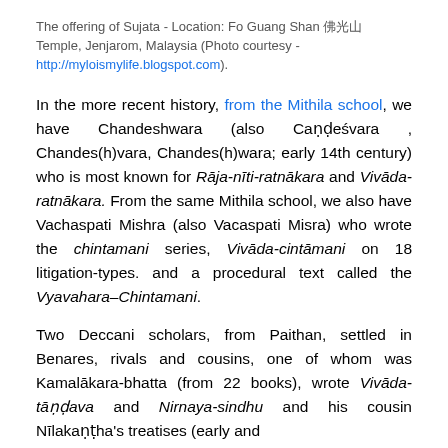The offering of Sujata - Location: Fo Guang Shan 佛光山 Temple, Jenjarom, Malaysia (Photo courtesy - http://myloismylife.blogspot.com).
In the more recent history, from the Mithila school, we have Chandeshwara (also Caṇḍeśvara , Chandes(h)vara, Chandes(h)wara; early 14th century) who is most known for Rāja-nīti-ratnākara and Vivāda-ratnākara. From the same Mithila school, we also have Vachaspati Mishra (also Vacaspati Misra) who wrote the chintamani series, Vivāda-cintāmani on 18 litigation-types. and a procedural text called the Vyavahara–Chintamani.
Two Deccani scholars, from Paithan, settled in Benares, rivals and cousins, one of whom was Kamalākara-bhatta (from 22 books), wrote Vivāda-tāṇḍava and Nirnaya-sindhu and his cousin Nīlakaṇṭha's treatises (early and